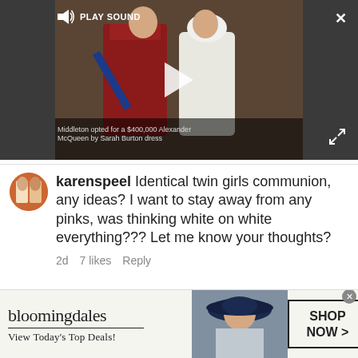[Figure (screenshot): Video player showing a royal wedding scene with Prince William in red military uniform and Kate Middleton in white wedding dress. Play button overlay visible. Caption reads: Middleton opted for a $400,000 Alexander McQueen by Sarah Burton dress]
karenspeel Identical twin girls communion, any ideas? I want to stay away from any pinks, was thinking white on white everything??? Let me know your thoughts?
2d  7 likes  Reply
View replies (3)
[Figure (screenshot): Bloomingdales advertisement banner. Logo text: bloomingdales. Tagline: View Today's Top Deals! Shop Now button on right. Woman in blue hat image in center.]